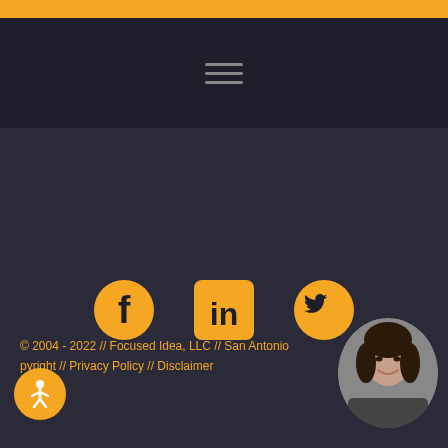[Figure (other): Orange top bar stripe]
[Figure (other): Dark navigation bar with hamburger menu icon (three horizontal lines)]
[Figure (other): Social media icons: Facebook, LinkedIn, Twitter in orange on dark background]
© 2004 - 2022 // Focused Idea, LLC // San Antonio
pyright // Privacy Policy // Disclaimer
[Figure (photo): Circular profile photo of a woman with dark hair, smiling, wearing a blazer]
[Figure (other): Orange circular accessibility button with wheelchair/person icon (bottom left)]